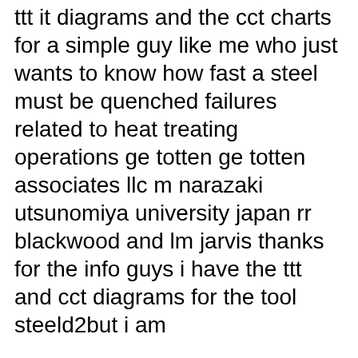ttt it diagrams and the cct charts for a simple guy like me who just wants to know how fast a steel must be quenched failures related to heat treating operations ge totten ge totten associates llc m narazaki utsunomiya university japan rr blackwood and lm jarvis thanks for the info guys i have the ttt and cct diagrams for the tool steeld2but i am
A CCT diagram is shown in Figure 2 for 4340 steel. To appreciate the difference between IT and CCT diagrams, consider the slow cooling of austenite, which transforms into вЂ¦ Buyer's Shipping Agent clears in the vessel to come close to between 15-25 Nautical miles off the